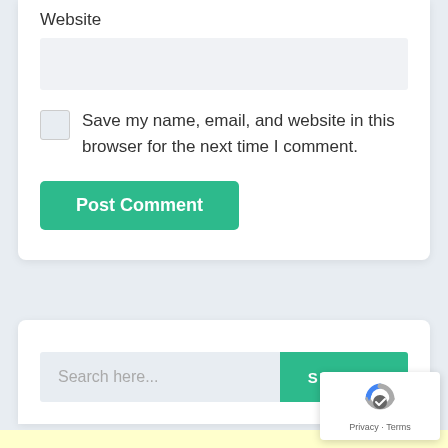Website
Save my name, email, and website in this browser for the next time I comment.
Post Comment
Search here...
SEARCH
Privacy · Terms